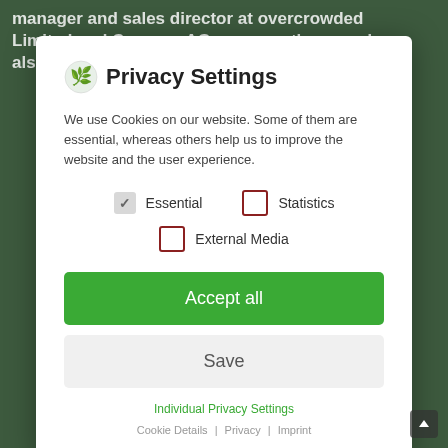manager and sales director at overcrowded Limited and Conergy AG, among others, and also founded the climate protection
Privacy Settings
We use Cookies on our website. Some of them are essential, whereas others help us to improve the website and the user experience.
Essential (checked)
Statistics (unchecked)
External Media (unchecked)
Accept all
Save
Individual Privacy Settings
Cookie Details | Privacy | Imprint